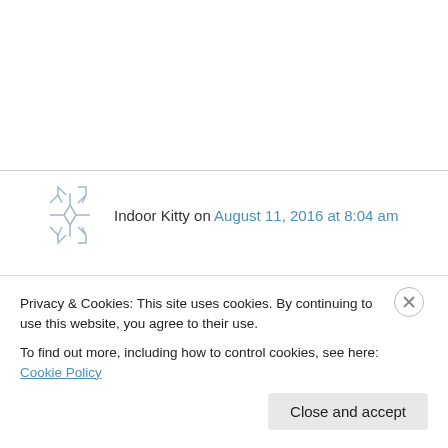Indoor Kitty on August 11, 2016 at 8:04 am
Once you have made your own bag, you'll never be satisfied with a store bought bag again.
Have you stain/waterproofed this one? Since your Kate Spade sadness is recent, I hope so. I don't think I could survive a permanent stain on
Privacy & Cookies: This site uses cookies. By continuing to use this website, you agree to their use.
To find out more, including how to control cookies, see here: Cookie Policy
Close and accept